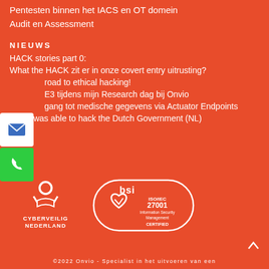Pentesten binnen het IACS en OT domein
Audit en Assessment
NIEUWS
HACK stories part 0:
What the HACK zit er in onze covert entry uitrusting?
road to ethical hacking!
E3 tijdens mijn Research dag bij Onvio
gang tot medische gegevens via Actuator Endpoints
How I was able to hack the Dutch Government (NL)
[Figure (logo): Cyberveilig Nederland logo (white on orange)]
[Figure (logo): BSI ISO/IEC 27001 Information Security Management Certified logo (white outline on orange)]
©2022 Onvio - Specialist in het uitvoeren van een